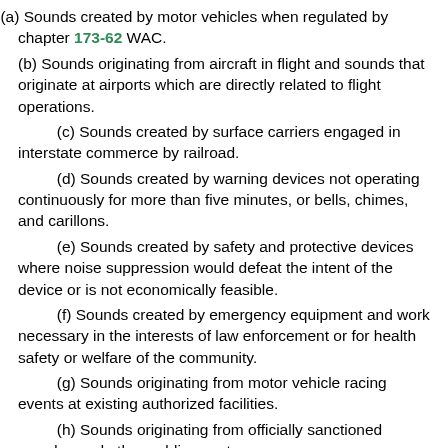(a) Sounds created by motor vehicles when regulated by chapter 173-62 WAC.
(b) Sounds originating from aircraft in flight and sounds that originate at airports which are directly related to flight operations.
(c) Sounds created by surface carriers engaged in interstate commerce by railroad.
(d) Sounds created by warning devices not operating continuously for more than five minutes, or bells, chimes, and carillons.
(e) Sounds created by safety and protective devices where noise suppression would defeat the intent of the device or is not economically feasible.
(f) Sounds created by emergency equipment and work necessary in the interests of law enforcement or for health safety or welfare of the community.
(g) Sounds originating from motor vehicle racing events at existing authorized facilities.
(h) Sounds originating from officially sanctioned parades and other public events.
(i) Sounds emitted from petroleum refinery boilers during startup of said boilers: Provided, That